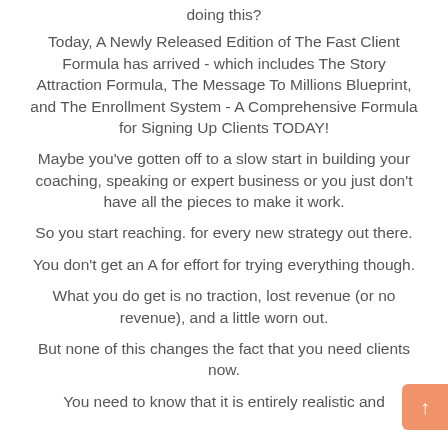doing this?
Today, A Newly Released Edition of The Fast Client Formula has arrived - which includes The Story Attraction Formula, The Message To Millions Blueprint, and The Enrollment System - A Comprehensive Formula for Signing Up Clients TODAY!
Maybe you've gotten off to a slow start in building your coaching, speaking or expert business or you just don't have all the pieces to make it work.
So you start reaching. for every new strategy out there.
You don't get an A for effort for trying everything though.
What you do get is no traction, lost revenue (or no revenue), and a little worn out.
But none of this changes the fact that you need clients now.
You need to know that it is entirely realistic and